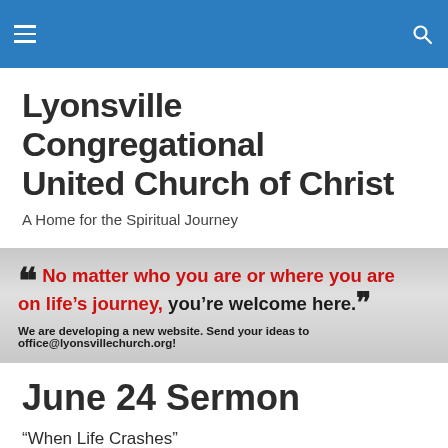Lyonsville Congregational United Church of Christ
Lyonsville Congregational United Church of Christ
A Home for the Spiritual Journey
[Figure (other): Gray banner with quotation: 'No matter who you are or where you are on life's journey, you're welcome here.' followed by 'We are developing a new website. Send your ideas to office@lyonsvillechurch.org!']
June 24 Sermon
“When Life Crashes”
Psalm 89